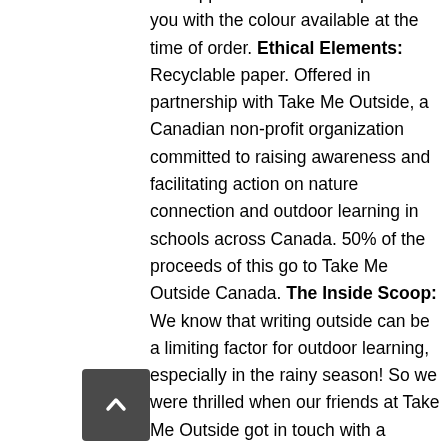our supplier and so we will provide you with the colour available at the time of order. Ethical Elements: Recyclable paper. Offered in partnership with Take Me Outside, a Canadian non-profit organization committed to raising awareness and facilitating action on nature connection and outdoor learning in schools across Canada. 50% of the proceeds of this go to Take Me Outside Canada. The Inside Scoop: We know that writing outside can be a limiting factor for outdoor learning, especially in the rainy season! So we were thrilled when our friends at Take Me Outside got in touch with a solution. We know that this will help many to take their learning outside.